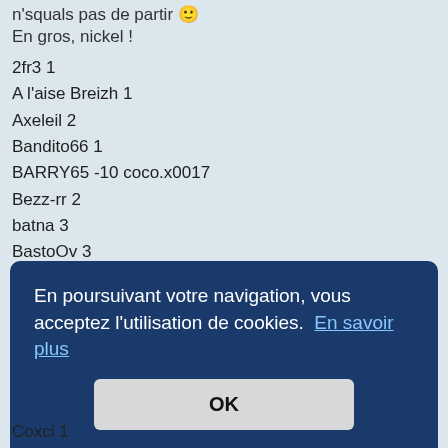n'squals pas de partir 🙂
En gros, nickel !
2fr3 1
A l'aise Breizh 1
Axeleil 2
Bandito66 1
BARRY65 -10 coco.x0017
Bezz-rr 2
batna 3
BastoOv 3
Benjib01 1
billounette 1
Binano 1
Blaque 1
Bobo 1
En poursuivant votre navigation, vous acceptez l'utilisation de cookies. En savoir plus
OK
Coxci 1